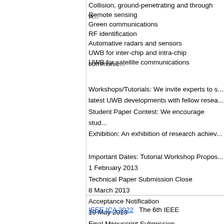Collision, ground-penetrating and through w...
Remote sensing
Green communications
RF identification
Automative radars and sensors
UWB for inter-chip and intra-chip communic...
UWB for satellite communications
Workshops/Tutorials: We invite experts to s... latest UWB developments with fellow resea... Student Paper Contest: We encourage stud... Exhibition: An exhibition of research achiev...
Important Dates: Tutorial Workshop Propos... 1 February 2013 Technical Paper Submission Close 8 March 2013 Acceptance Notification 10 May 2013 Final Manuscript Submission 14 June 2013
IEEE ICA 2022   The 6th IEEE Internationa...
IEEE SSCI 2023   2023 IEEE Symposium...